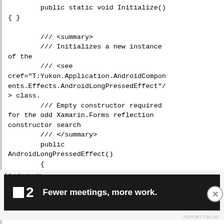public static void Initialize()
{ }

        /// <summary>
        /// Initializes a new instance of the
        /// <see cref="T:Yukon.Application.AndroidComponents.Effects.AndroidLongPressedEffect"/> class.
        /// Empty constructor required for the odd Xamarin.Forms reflection constructor search
        /// </summary>
        public AndroidLongPressedEffect()
        {
        }

        /// <summary>
        /// ...
Advertisements
[Figure (infographic): Advertisement banner for Fewer meetings, more work. Dark background with logo showing a square icon next to number 2 and bold white text.]